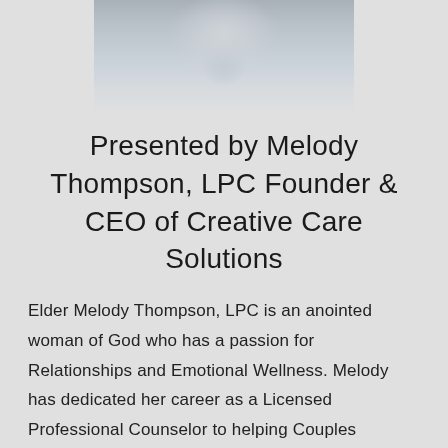[Figure (photo): Blurred/obscured photograph of a person, cropped at top, showing blurred figure against light background]
Presented by Melody Thompson, LPC Founder & CEO of Creative Care Solutions
Elder Melody Thompson, LPC is an anointed woman of God who has a passion for Relationships and Emotional Wellness. Melody has dedicated her career as a Licensed Professional Counselor to helping Couples Restore the Relationships they